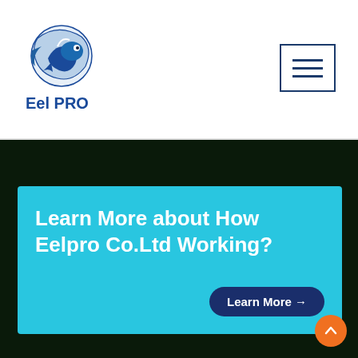[Figure (logo): Eel PRO company logo with a stylized eel fish illustration in blue tones and text 'Eel PRO' below]
[Figure (other): Hamburger menu icon with three horizontal lines inside a rectangular border, dark blue color]
Learn More about How Eelpro Co.Ltd Working?
Learn More →